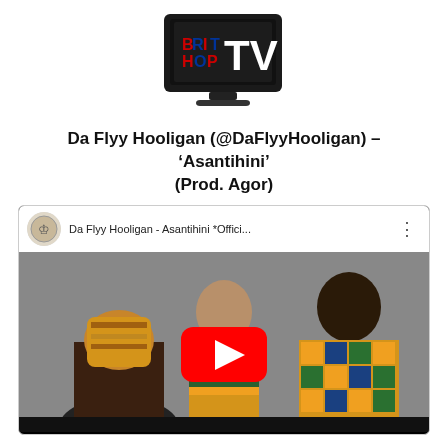[Figure (logo): Brit Hop TV logo — a TV monitor with 'BRIT HOP TV' text, BRIT in red/blue/black block letters, TV in large white letters on black screen]
Da Flyy Hooligan (@DaFlyyHooligan) – 'Asantihini' (Prod. Agor)
[Figure (screenshot): YouTube video embed thumbnail showing 'Da Flyy Hooligan - Asantihini *Offici...' with three people wearing African kente cloth, red YouTube play button in center]